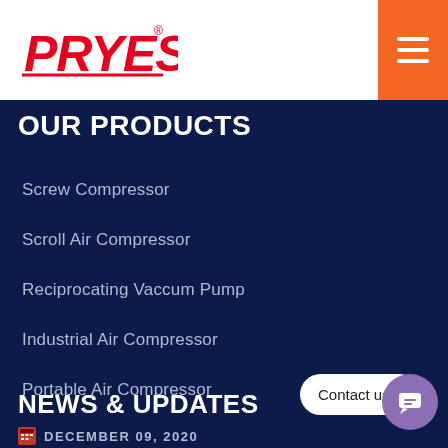[Figure (logo): PRYES brand logo in red italic bold text with registered trademark symbol and underline]
[Figure (other): Orange hamburger menu button with three white horizontal lines]
OUR PRODUCTS
Screw Compressor
Scroll Air Compressor
Reciprocating Vaccum Pump
Industrial Air Compressor
Portable Air Compressor
NEWS & UPDATES
Contact us
DECEMBER 09, 2020